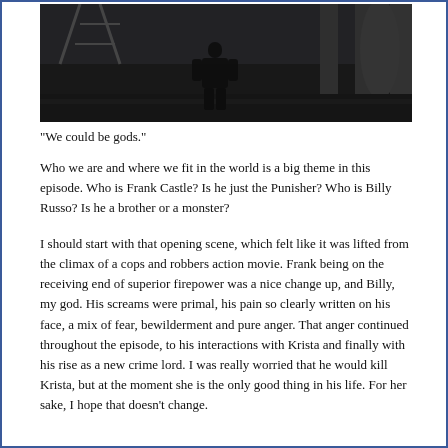[Figure (photo): A dark figure standing on a wet street/industrial area at night, seen from behind, with scaffolding and pillars visible in the background.]
"We could be gods."
Who we are and where we fit in the world is a big theme in this episode. Who is Frank Castle? Is he just the Punisher? Who is Billy Russo? Is he a brother or a monster?
I should start with that opening scene, which felt like it was lifted from the climax of a cops and robbers action movie. Frank being on the receiving end of superior firepower was a nice change up, and Billy, my god. His screams were primal, his pain so clearly written on his face, a mix of fear, bewilderment and pure anger. That anger continued throughout the episode, to his interactions with Krista and finally with his rise as a new crime lord. I was really worried that he would kill Krista, but at the moment she is the only good thing in his life. For her sake, I hope that doesn't change.